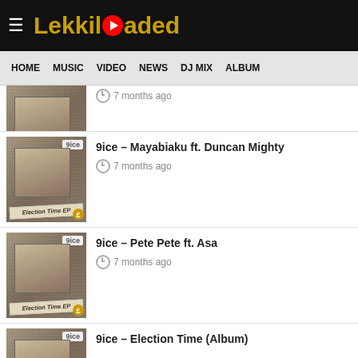LekkilOaded
HOME  MUSIC  VIDEO  NEWS  DJ MIX  ALBUM
7 months ago
9ice – Mayabiaku ft. Duncan Mighty
7 months ago
9ice – Pete Pete ft. Asa
7 months ago
9ice – Election Time (Album)